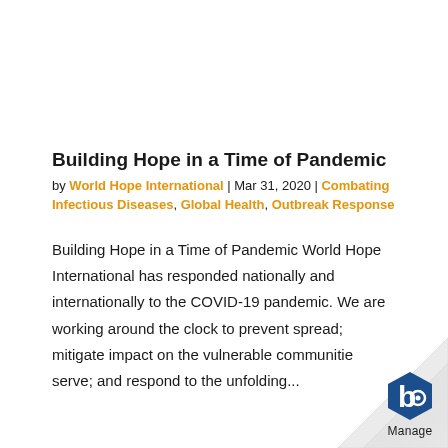Building Hope in a Time of Pandemic
by World Hope International | Mar 31, 2020 | Combating Infectious Diseases, Global Health, Outbreak Response
Building Hope in a Time of Pandemic World Hope International has responded nationally and internationally to the COVID-19 pandemic. We are working around the clock to prevent spread; mitigate impact on the vulnerable communitie serve; and respond to the unfolding...
[Figure (logo): Page curl effect in bottom-right corner with a blue hexagonal 'b' logo and 'Manage' text label]